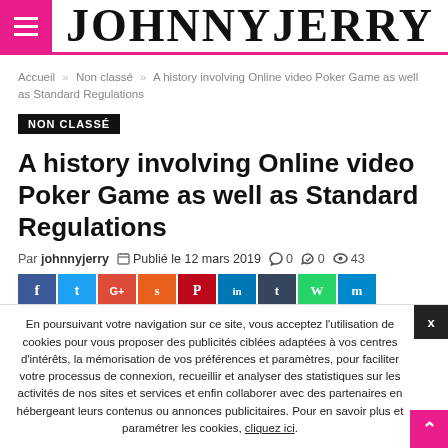JOHNNYJERRY
Accueil » Non classé » A history involving Online video Poker Game as well as Standard Regulations
NON CLASSÉ
A history involving Online video Poker Game as well as Standard Regulations
Par johnnyjerry  Publié le 12 mars 2019  0  0  43
[Figure (other): Social sharing buttons: Facebook, Twitter, Google+, another share, Pinterest, LinkedIn, Tumblr, WhatsApp, Messenger]
En poursuivant votre navigation sur ce site, vous acceptez l'utilisation de cookies pour vous proposer des publicités ciblées adaptées à vos centres d'intérêts, la mémorisation de vos préférences et paramètres, pour faciliter votre processus de connexion, recueillir et analyser des statistiques sur les activités de nos sites et services et enfin collaborer avec des partenaires en hébergeant leurs contenus ou annonces publicitaires. Pour en savoir plus et paramétrer les cookies, cliquez ici.